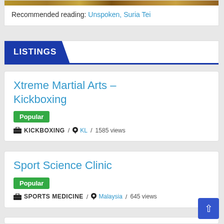[Figure (photo): Decorative image bar at top of card]
Recommended reading: Unspoken, Suria Tei
LISTINGS
Xtreme Martial Arts – Kickboxing
Popular
KICKBOXING / KL / 1585 views
Sport Science Clinic
Popular
SPORTS MEDICINE / Malaysia / 645 views